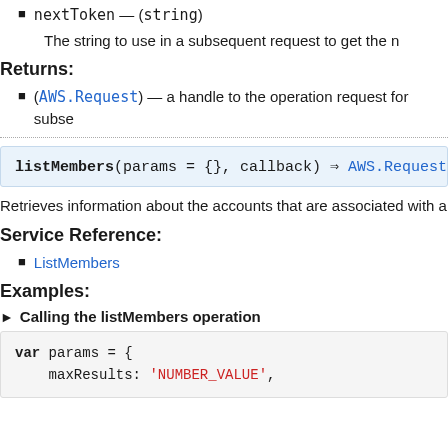nextToken — (string)
The string to use in a subsequent request to get the n
Returns:
(AWS.Request) — a handle to the operation request for subse
listMembers(params = {}, callback) ⇒ AWS.Request
Retrieves information about the accounts that are associated with a
Service Reference:
ListMembers
Examples:
▶ Calling the listMembers operation
var params = {
    maxResults: 'NUMBER_VALUE',